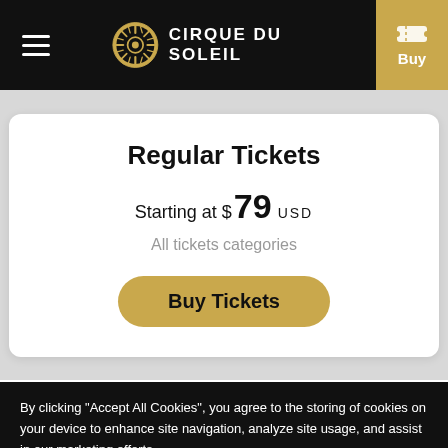CIRQUE DU SOLEIL
Regular Tickets
Starting at $79 USD
All tickets categories
Buy Tickets
By clicking “Accept All Cookies”, you agree to the storing of cookies on your device to enhance site navigation, analyze site usage, and assist in our marketing efforts.
Cookies Settings
Accept All Cookies